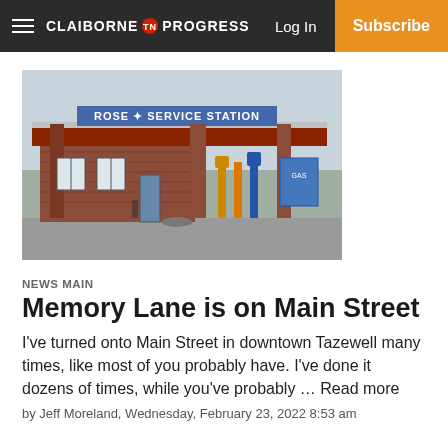CLAIBORNE PROGRESS | Log In | Subscribe
[Figure (photo): Photograph of Rose Service Station, a vintage brick gas station with orange/red roof canopy, old-style fuel pumps, and a blue sign reading 'ROSE SERVICE STATION' across the top.]
NEWS MAIN
Memory Lane is on Main Street
I've turned onto Main Street in downtown Tazewell many times, like most of you probably have. I've done it dozens of times, while you've probably … Read more
by Jeff Moreland, Wednesday, February 23, 2022 8:53 am